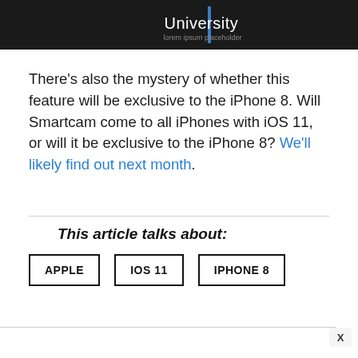[Figure (screenshot): Dark header banner with the word 'University' in white text and a blue vertical bar, with subtitle text below]
There’s also the mystery of whether this feature will be exclusive to the iPhone 8. Will Smartcam come to all iPhones with iOS 11, or will it be exclusive to the iPhone 8? We’ll likely find out next month.
This article talks about:
APPLE
IOS 11
IPHONE 8